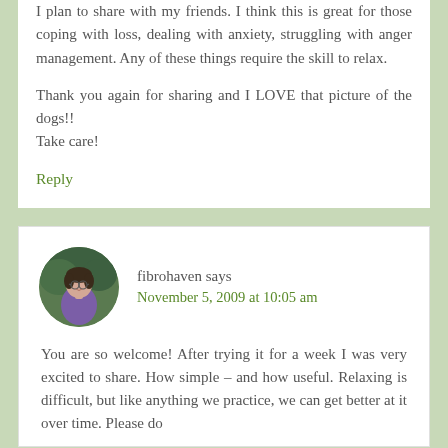I plan to share with my friends. I think this is great for those coping with loss, dealing with anxiety, struggling with anger management. Any of these things require the skill to relax.
Thank you again for sharing and I LOVE that picture of the dogs!!
Take care!
Reply
fibrohaven says
November 5, 2009 at 10:05 am
You are so welcome! After trying it for a week I was very excited to share. How simple – and how useful. Relaxing is difficult, but like anything we practice, we can get better at it over time. Please do